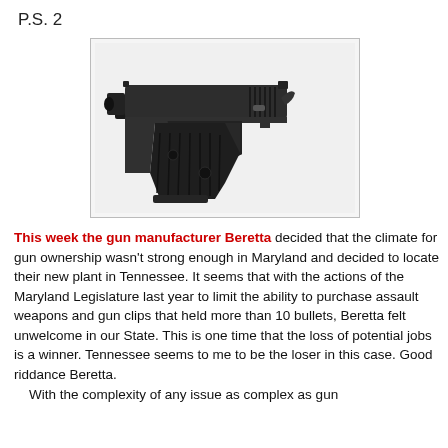P.S. 2
[Figure (photo): Photograph of a Beretta semi-automatic pistol, dark/black finish, shown in profile against a white background within a light gray bordered frame.]
This week the gun manufacturer Beretta decided that the climate for gun ownership wasn't strong enough in Maryland and decided to locate their new plant in Tennessee.  It seems that with the actions of the Maryland Legislature last year to limit the ability to purchase assault weapons and gun clips that held more than 10 bullets, Beretta felt unwelcome in our State.  This is one time that the loss of potential jobs is a winner.  Tennessee seems to me to be the loser in this case.  Good riddance Beretta.
    With the complexity of any issue as complex as gun